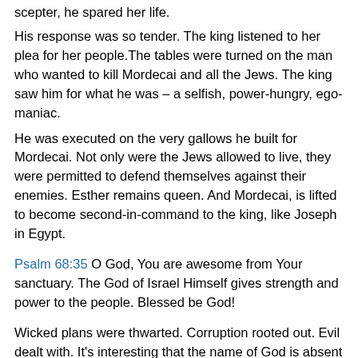scepter, he spared her life.
His response was so tender. The king listened to her plea for her people.The tables were turned on the man who wanted to kill Mordecai and all the Jews. The king saw him for what he was – a selfish, power-hungry, ego-maniac.
He was executed on the very gallows he built for Mordecai. Not only were the Jews allowed to live, they were permitted to defend themselves against their enemies. Esther remains queen. And Mordecai, is lifted to become second-in-command to the king, like Joseph in Egypt.
Psalm 68:35 O God, You are awesome from Your sanctuary. The God of Israel Himself gives strength and power to the people. Blessed be God!
Wicked plans were thwarted. Corruption rooted out. Evil dealt with. It's interesting that the name of God is absent from the pages of this book in the Bible. But He's there.